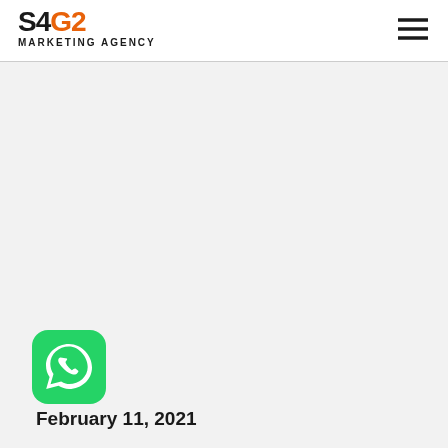[Figure (logo): S4G2 Marketing Agency logo with orange G2 text and hamburger menu icon]
[Figure (illustration): WhatsApp app icon - green rounded square with white phone/chat bubble symbol]
February 11, 2021